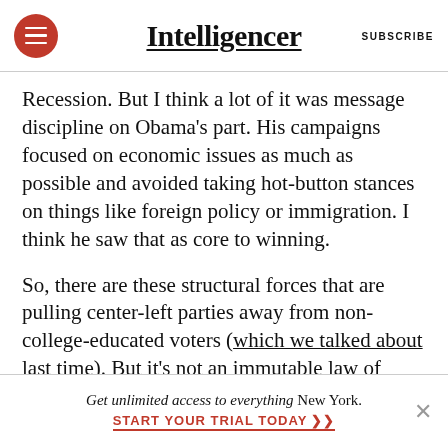Intelligencer | SUBSCRIBE
Recession. But I think a lot of it was message discipline on Obama’s part. His campaigns focused on economic issues as much as possible and avoided taking hot-button stances on things like foreign policy or immigration. I think he saw that as core to winning.
So, there are these structural forces that are pulling center-left parties away from non-college-educated voters (which we talked about last time). But it’s not an immutable law of nature that can’t be reversed.
Get unlimited access to everything New York. START YOUR TRIAL TODAY »